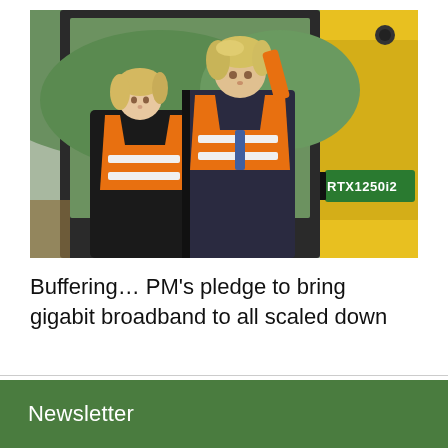[Figure (photo): Two people wearing orange high-visibility vests standing beside a large yellow construction machine labeled RTX1250i2. A blond woman faces upward and a man with tousled blond hair is seated in the cab of the machine, with green countryside visible in the background.]
Buffering… PM's pledge to bring gigabit broadband to all scaled down
Newsletter